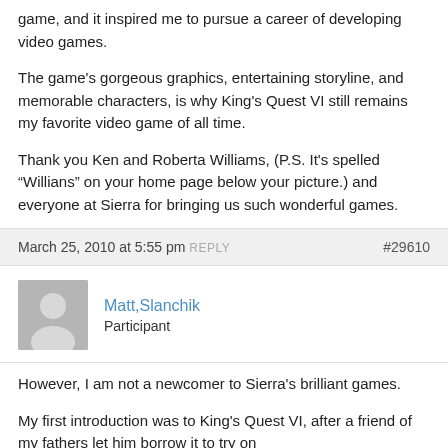game, and it inspired me to pursue a career of developing video games.
The game's gorgeous graphics, entertaining storyline, and memorable characters, is why King's Quest VI still remains my favorite video game of all time.
Thank you Ken and Roberta Williams, (P.S. It's spelled “Willians” on your home page below your picture.) and everyone at Sierra for bringing us such wonderful games.
March 25, 2010 at 5:55 pm REPLY   #29610
Matt,Slanchik
Participant
However, I am not a newcomer to Sierra's brilliant games.
My first introduction was to King's Quest VI, after a friend of my fathers let him borrow it to try on